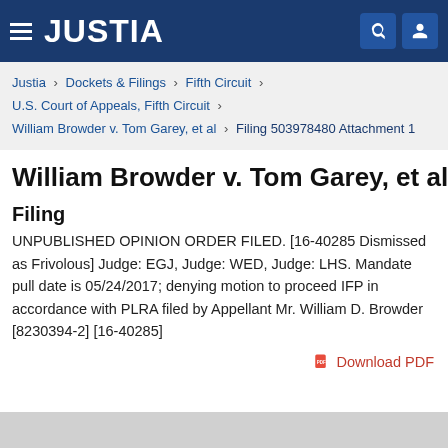JUSTIA
Justia › Dockets & Filings › Fifth Circuit › U.S. Court of Appeals, Fifth Circuit › William Browder v. Tom Garey, et al › Filing 503978480 Attachment 1
William Browder v. Tom Garey, et al
Filing
UNPUBLISHED OPINION ORDER FILED. [16-40285 Dismissed as Frivolous] Judge: EGJ, Judge: WED, Judge: LHS. Mandate pull date is 05/24/2017; denying motion to proceed IFP in accordance with PLRA filed by Appellant Mr. William D. Browder [8230394-2] [16-40285]
Download PDF